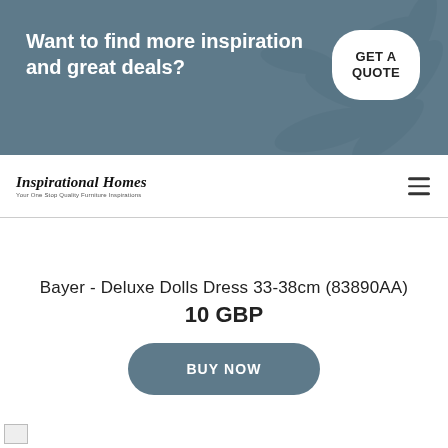[Figure (infographic): Promotional banner with teal/slate background, decorative leaf silhouettes, bold white text reading 'Want to find more inspiration and great deals?', and a white rounded pill button reading 'GET A QUOTE']
Inspirational Homes — Your One Stop Quality Furniture Inspirations
Bayer - Deluxe Dolls Dress 33-38cm (83890AA)
10 GBP
BUY NOW